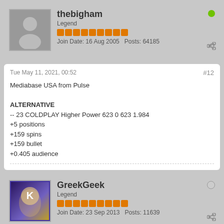thebigham | Legend | Join Date: 16 Aug 2005 | Posts: 64185
Tue May 11, 2021, 00:52 | #12
Mediabase USA from Pulse

ALTERNATIVE
-- 23 COLDPLAY Higher Power 623 0 623 1.984
+5 positions
+159 spins
+159 bullet
+0.405 audience
GreekGeek | Legend | Join Date: 23 Sep 2013 | Posts: 11639
Tue May 11, 2021, 19:20 | #13